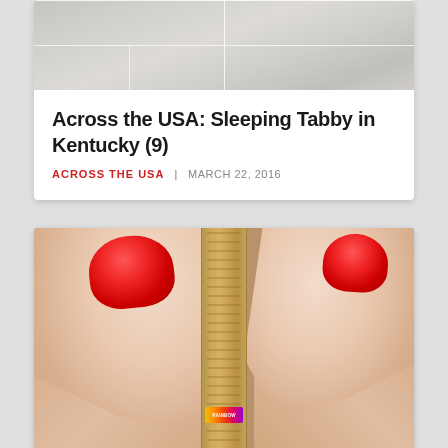[Figure (photo): Top portion of a blog post card showing a marble/tile background image at the top]
Across the USA: Sleeping Tabby in Kentucky (9)
ACROSS THE USA | MARCH 22, 2016
[Figure (photo): Close-up photograph of feet with red toenail polish wearing tan/beige Rainbow brand flip flops, showing the toe strap between the big toe and second toe]